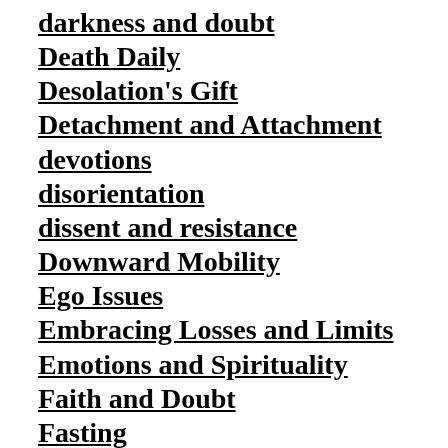darkness and doubt
Death Daily
Desolation's Gift
Detachment and Attachment
devotions
disorientation
dissent and resistance
Downward Mobility
Ego Issues
Embracing Losses and Limits
Emotions and Spirituality
Faith and Doubt
Fasting
fixed-time prayers
Forgiveness